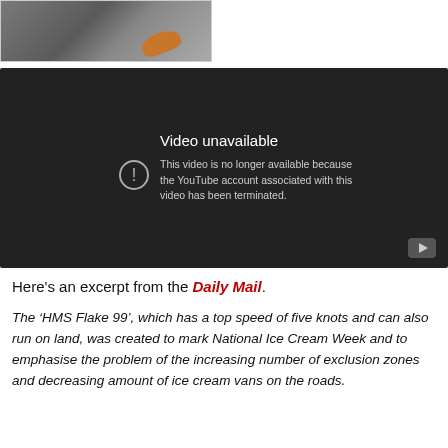[Figure (photo): Partial photo showing a hand holding an orange object against a grey background]
[Figure (screenshot): YouTube video unavailable error screen. Text reads: 'Video unavailable. This video is no longer available because the YouTube account associated with this video has been terminated.']
Here's an excerpt from the Daily Mail.
The ‘HMS Flake 99’, which has a top speed of five knots and can also run on land, was created to mark National Ice Cream Week and to emphasise the problem of the increasing number of exclusion zones and decreasing amount of ice cream vans on the roads.